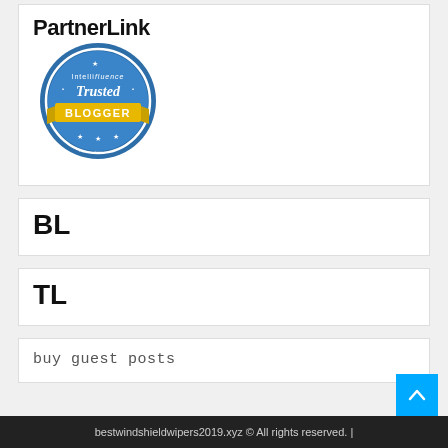PartnerLink
[Figure (logo): Intellifluence Trusted Blogger badge — circular blue badge with gold ribbon banner reading BLOGGER]
BL
TL
buy guest posts
bestwindshieldwipers2019.xyz © All rights reserved. |